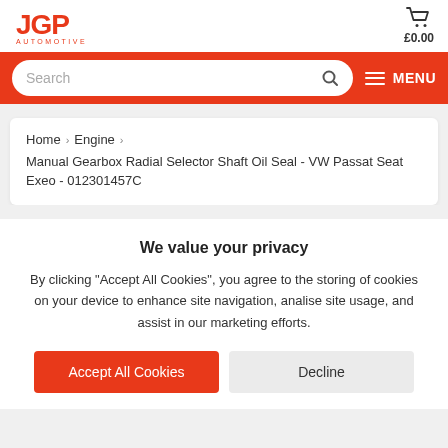[Figure (logo): JGP Automotive red logo with shopping cart and £0.00 price]
[Figure (screenshot): Red navigation bar with search box and MENU button]
Home > Engine > Manual Gearbox Radial Selector Shaft Oil Seal - VW Passat Seat Exeo - 012301457C
We value your privacy
By clicking "Accept All Cookies", you agree to the storing of cookies on your device to enhance site navigation, analise site usage, and assist in our marketing efforts.
Accept All Cookies
Decline